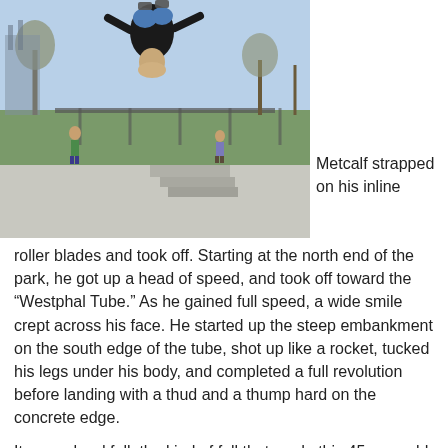[Figure (photo): A person in dark clothing performing an upside-down aerial trick (backflip/invert) at an outdoor skate park. The skate park has concrete surfaces, a railing, and there are trees and a structure visible in the background. Other people can be seen in the background.]
Metcalf strapped on his inline roller blades and took off. Starting at the north end of the park, he got up a head of speed, and took off toward the “Westphal Tube.” As he gained full speed, a wide smile crept across his face. He started up the steep embankment on the south edge of the tube, shot up like a rocket, tucked his legs under his body, and completed a full revolution before landing with a thud and a thump hard on the concrete edge.
It was a hard fall; the kind of fall that made this 45-year-old reach for his cell phone to call 911. But Metcalf was fine. In fact, he was laughing as he spread across the freezing